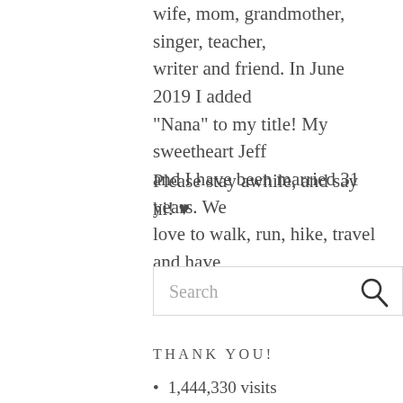wife, mom, grandmother, singer, teacher, writer and friend. In June 2019 I added "Nana" to my title! My sweetheart Jeff and I have been married 31 years. We love to walk, run, hike, travel and have grand adventures together!
Please stay awhile, and say hi! ♥
Search
THANK YOU!
1,444,330 visits